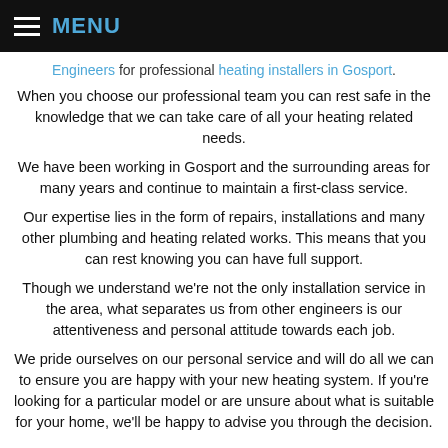MENU
Engineers for professional heating installers in Gosport.
When you choose our professional team you can rest safe in the knowledge that we can take care of all your heating related needs.
We have been working in Gosport and the surrounding areas for many years and continue to maintain a first-class service.
Our expertise lies in the form of repairs, installations and many other plumbing and heating related works. This means that you can rest knowing you can have full support.
Though we understand we're not the only installation service in the area, what separates us from other engineers is our attentiveness and personal attitude towards each job.
We pride ourselves on our personal service and will do all we can to ensure you are happy with your new heating system. If you're looking for a particular model or are unsure about what is suitable for your home, we'll be happy to advise you through the decision.